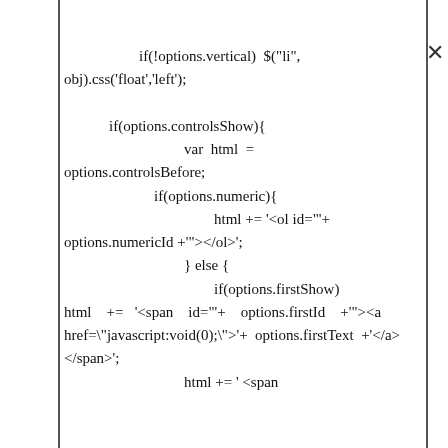if(!options.vertical)  $("li", obj).css('float','left');

            if(options.controlsShow){
                                var  html  =  options.controlsBefore;
                        if(options.numeric){
                                        html += '<ol id="'+
options.numericId +'"></ol>';
                                } else {
                                        if(options.firstShow)
html    +=   '<span    id="'+    options.firstId    +'"><a
href=\"javascript:void(0);\">'+  options.firstText  +'</a>
</span>';
                                html += ' <span